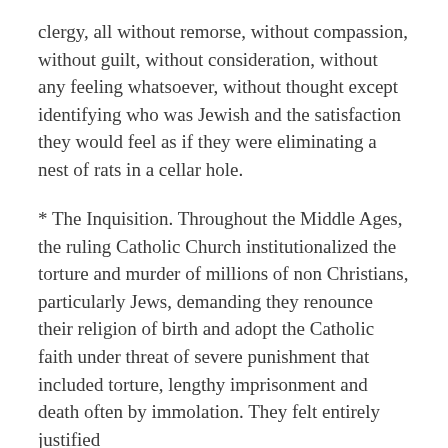clergy, all without remorse, without compassion, without guilt, without consideration, without any feeling whatsoever, without thought except identifying who was Jewish and the satisfaction they would feel as if they were eliminating a nest of rats in a cellar hole.
* The Inquisition. Throughout the Middle Ages, the ruling Catholic Church institutionalized the torture and murder of millions of non Christians, particularly Jews, demanding they renounce their religion of birth and adopt the Catholic faith under threat of severe punishment that included torture, lengthy imprisonment and death often by immolation. They felt entirely justified